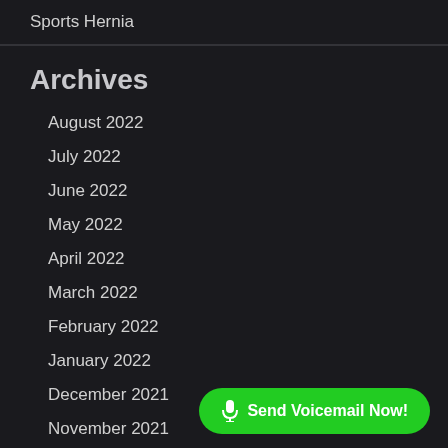Sports Hernia
Archives
August 2022
July 2022
June 2022
May 2022
April 2022
March 2022
February 2022
January 2022
December 2021
November 2021
Send Voicemail Now!